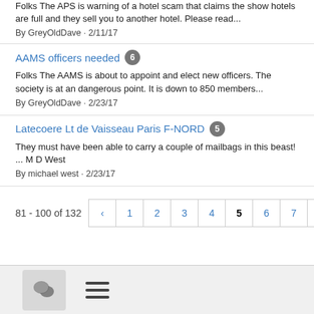Folks The APS is warning of a hotel scam that claims the show hotels are full and they sell you to another hotel. Please read...
By GreyOldDave · 2/11/17
AAMS officers needed 6
Folks The AAMS is about to appoint and elect new officers. The society is at an dangerous point. It is down to 850 members...
By GreyOldDave · 2/23/17
Latecoere Lt de Vaisseau Paris F-NORD 5
They must have been able to carry a couple of mailbags in this beast! ... M D West
By michael west · 2/23/17
81 - 100 of 132
[Figure (other): Chat bubble icon button]
[Figure (other): Hamburger menu icon]